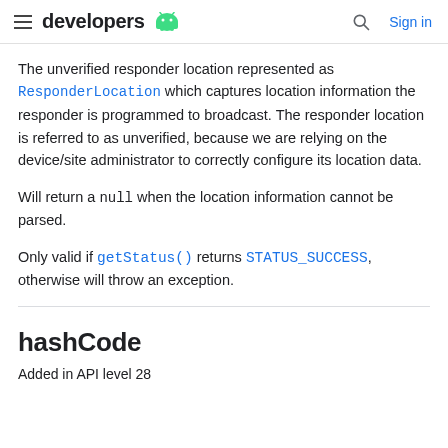developers [Android logo] | Search | Sign in
The unverified responder location represented as ResponderLocation which captures location information the responder is programmed to broadcast. The responder location is referred to as unverified, because we are relying on the device/site administrator to correctly configure its location data.
Will return a null when the location information cannot be parsed.
Only valid if getStatus() returns STATUS_SUCCESS, otherwise will throw an exception.
hashCode
Added in API level 28